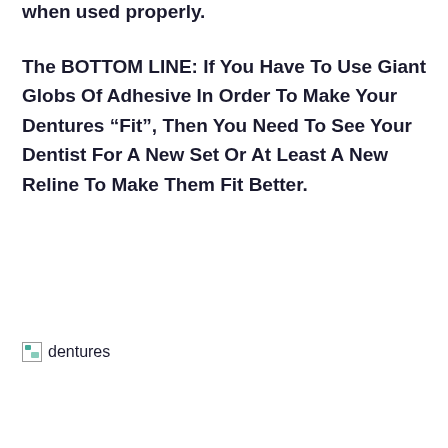when used properly.
The BOTTOM LINE: If You Have To Use Giant Globs Of Adhesive In Order To Make Your Dentures “Fit”, Then You Need To See Your Dentist For A New Set Or At Least A New Reline To Make Them Fit Better.
[Figure (other): Broken image placeholder with alt text 'dentures']